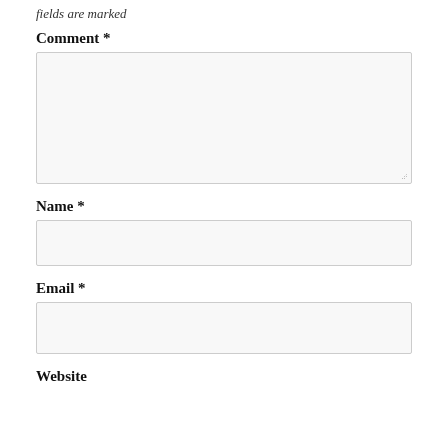fields are marked
Comment *
[Figure (screenshot): Large empty textarea input box for comment field with resize handle at bottom right]
Name *
[Figure (screenshot): Single-line text input box for name field]
Email *
[Figure (screenshot): Single-line text input box for email field]
Website